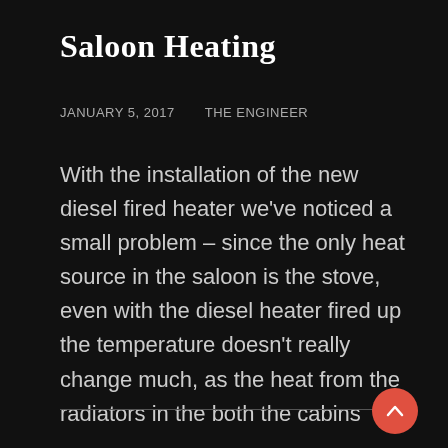Saloon Heating
JANUARY 5, 2017    THE ENGINEER
With the installation of the new diesel fired heater we've noticed a small problem – since the only heat source in the saloon is the stove, even with the diesel heater fired up the temperature doesn't really change much, as the heat from the radiators in the both the cabins
CONTINUE READING